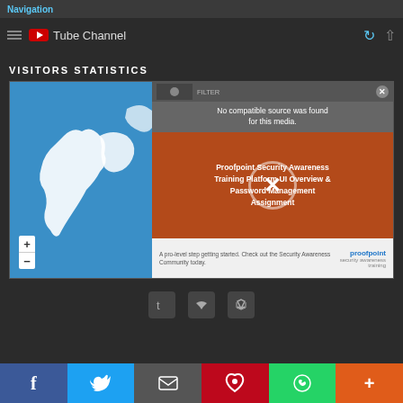Navigation
YouTube Channel
VISITORS STATISTICS
[Figure (map): World map showing 32,081 Pageviews Jul. 29th - Aug. 29th with a video overlay showing 'Proofpoint Security Awareness Training Platform UI Overview & Password Management Assignment' with error 'No compatible source was found for this media.']
Social sharing bar with Facebook, Twitter, Email, Pinterest, WhatsApp, and Plus buttons